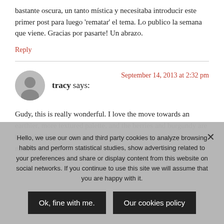bastante oscura, un tanto mística y necesitaba introducir este primer post para luego 'rematar' el tema. Lo publico la semana que viene. Gracias por pasarte! Un abrazo.
Reply
tracy says:
September 14, 2013 at 2:32 pm
Gudy, this is really wonderful. I love the move towards an earthier, more textured palette, and the berries and burgundy are beautiful. It seems like it represents a move back to a more nature-oriented
Hello, we use our own and third party cookies to analyze browsing habits and perform statistical studies, show advertising related to your preferences and share or display content from this website on social networks. If you continue to use this site we will assume that you are happy with it.
Ok, fine with me.
Our cookies policy